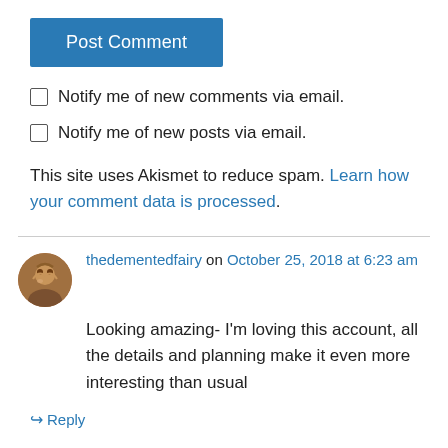Post Comment
Notify me of new comments via email.
Notify me of new posts via email.
This site uses Akismet to reduce spam. Learn how your comment data is processed.
thedementedfairy on October 25, 2018 at 6:23 am
Looking amazing- I'm loving this account, all the details and planning make it even more interesting than usual
Reply